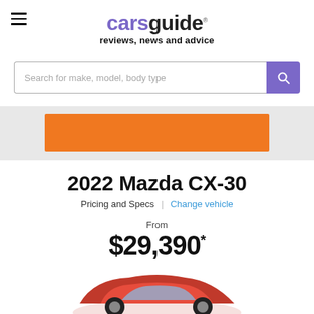carsguide reviews, news and advice
Search for make, model, body type
[Figure (other): Orange advertisement banner on grey background]
2022 Mazda CX-30
Pricing and Specs | Change vehicle
From $29,390*
[Figure (photo): Partial view of red Mazda CX-30 car from the front]